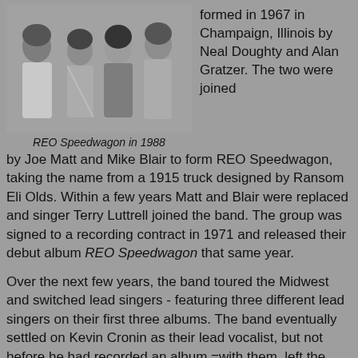[Figure (photo): Black and white group photo of REO Speedwagon members in 1988]
REO Speedwagon in 1988
formed in 1967 in Champaign, Illinois by Neal Doughty and Alan Gratzer. The two were joined by Joe Matt and Mike Blair to form REO Speedwagon, taking the name from a 1915 truck designed by Ransom Eli Olds. Within a few years Matt and Blair were replaced and singer Terry Luttrell joined the band. The group was signed to a recording contract in 1971 and released their debut album REO Speedwagon that same year.
Over the next few years, the band toured the Midwest and switched lead singers - featuring three different lead singers on their first three albums. The band eventually settled on Kevin Cronin as their lead vocalist, but not before he had recorded an album =with them, left the band while they recorded another album with a different singer, and returned only after their first choice for a lead singer declined due to his decision to become a born-again Christian. The band's biggest hit in this time period was 1973's Ridin' the Storm